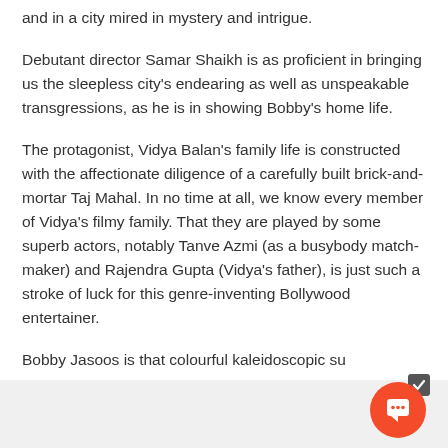and in a city mired in mystery and intrigue.
Debutant director Samar Shaikh is as proficient in bringing us the sleepless city's endearing as well as unspeakable transgressions, as he is in showing Bobby's home life.
The protagonist, Vidya Balan's family life is constructed with the affectionate diligence of a carefully built brick-and-mortar Taj Mahal. In no time at all, we know every member of Vidya's filmy family. That they are played by some superb actors, notably Tanve Azmi (as a busybody match-maker) and Rajendra Gupta (Vidya's father), is just such a stroke of luck for this genre-inventing Bollywood entertainer.
Bobby Jasoos is that colourful kaleidoscopic su…